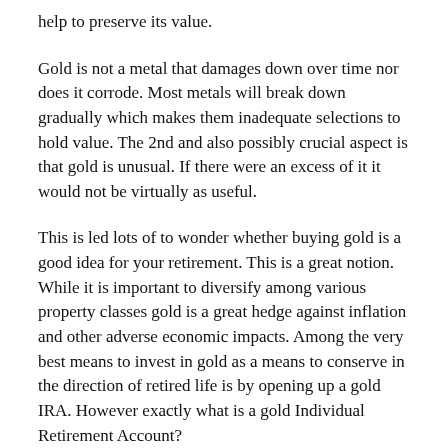help to preserve its value.
Gold is not a metal that damages down over time nor does it corrode. Most metals will break down gradually which makes them inadequate selections to hold value. The 2nd and also possibly crucial aspect is that gold is unusual. If there were an excess of it it would not be virtually as useful.
This is led lots of to wonder whether buying gold is a good idea for your retirement. This is a great notion. While it is important to diversify among various property classes gold is a great hedge against inflation and other adverse economic impacts. Among the very best means to invest in gold as a means to conserve in the direction of retired life is by opening up a gold IRA. However exactly what is a gold Individual Retirement Account?